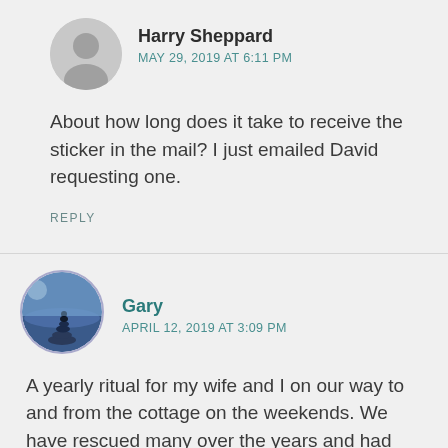Harry Sheppard
MAY 29, 2019 AT 6:11 PM
About how long does it take to receive the sticker in the mail? I just emailed David requesting one.
REPLY
Gary
APRIL 12, 2019 AT 3:09 PM
A yearly ritual for my wife and I on our way to and from the cottage on the weekends. We have rescued many over the years and had the good fortune of rescuing a Blanding's turtle off Hwy 35